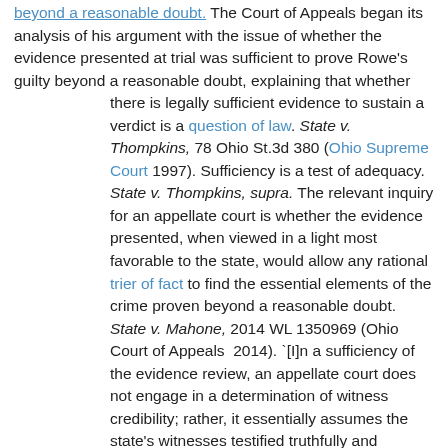beyond a reasonable doubt. The Court of Appeals began its analysis of his argument with the issue of whether the evidence presented at trial was sufficient to prove Rowe's guilty beyond a reasonable doubt, explaining that whether there is legally sufficient evidence to sustain a verdict is a question of law. State v. Thompkins, 78 Ohio St.3d 380 (Ohio Supreme Court 1997). Sufficiency is a test of adequacy. State v. Thompkins, supra. The relevant inquiry for an appellate court is whether the evidence presented, when viewed in a light most favorable to the state, would allow any rational trier of fact to find the essential elements of the crime proven beyond a reasonable doubt. State v. Mahone, 2014 WL 1350969 (Ohio Court of Appeals 2014). `[I]n a sufficiency of the evidence review, an appellate court does not engage in a determination of witness credibility; rather, it essentially assumes the state's witnesses testified truthfully and determines if that testimony satisfies each element of the crime.' State v. Bankston, 2009, Ohio 754 (Ohio Court of